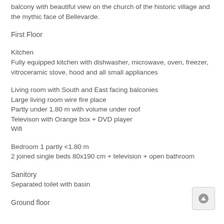balcony with beautiful view on the church of the historic village and the mythic face of Bellevarde.
First Floor
Kitchen
Fully equipped kitchen with dishwasher, microwave, oven, freezer, vitroceramic stove, hood and all small appliances
Living room with South and East facing balconies
Large living room wire fire place
Partly under 1.80 m with volume under roof
Televison with Orange box + DVD player
Wifi
Bedroom 1 partly <1.80 m
2 joined single beds 80x190 cm + television + open bathroom
Sanitory
Separated toilet with basin
Ground floor